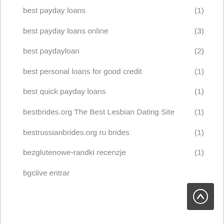best payday loans (1)
best payday loans online (3)
best paydayloan (2)
best personal loans for good credit (1)
best quick payday loans (1)
bestbrides.org The Best Lesbian Dating Site (1)
bestrussianbrides.org ru brides (1)
bezglutenowe-randki recenzje (1)
bgclive entrar